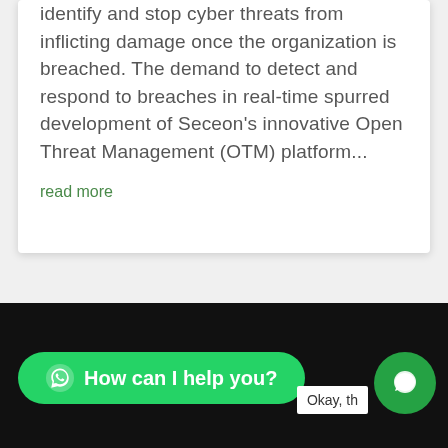identify and stop cyber threats from inflicting damage once the organization is breached. The demand to detect and respond to breaches in real-time spurred development of Seceon's innovative Open Threat Management (OTM) platform...
read more
« Older Entries
Next Entries »
How can I help you?
more.
Okay, th